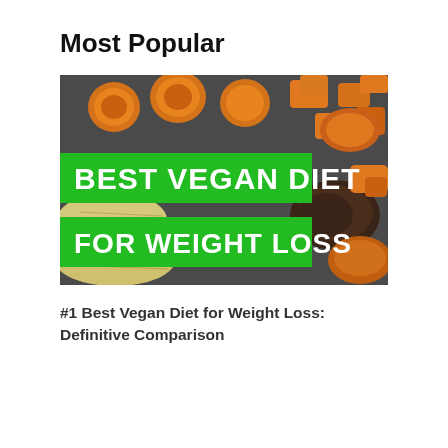Most Popular
[Figure (photo): Photo of chopped sweet potatoes and root vegetables on a dark tray, with green banner overlays reading 'BEST VEGAN DIET FOR WEIGHT LOSS' in bold white text]
#1 Best Vegan Diet for Weight Loss: Definitive Comparison